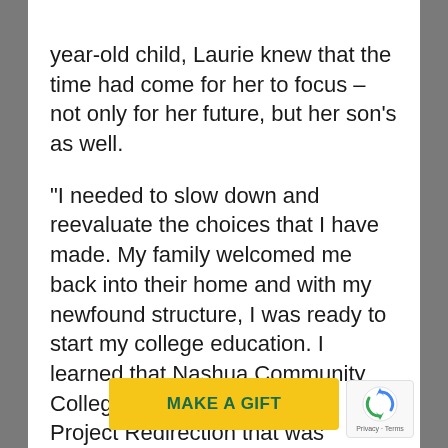year-old child, Laurie knew that the time had come for her to focus – not only for her future, but her son's as well.

“I needed to slow down and reevaluate the choices that I have made. My family welcomed me back into their home and with my newfound structure, I was ready to start my college education. I learned that Nashua Community College had a program called Project Redirection that was specifically focused on supporting single parents. It was per
[Figure (other): Yellow 'MAKE A GIFT' button overlay at bottom center of page]
[Figure (other): reCAPTCHA badge with spinning arrows icon and 'Privacy - Terms' text, positioned at bottom right]